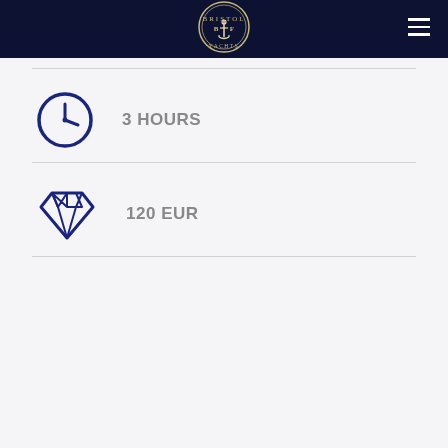[Figure (logo): Circular naval/maritime logo with anchor, letters B and F, on dark navy header]
[Figure (infographic): Clock icon (navy blue outline) with text '3 HOURS']
[Figure (infographic): Diamond gem icon (navy blue outline) with text '120 EUR']